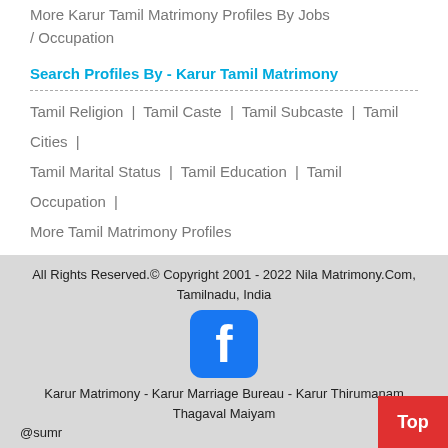More Karur Tamil Matrimony Profiles By Jobs / Occupation
Search Profiles By - Karur Tamil Matrimony
Tamil Religion | Tamil Caste | Tamil Subcaste | Tamil Cities | Tamil Marital Status | Tamil Education | Tamil Occupation | More Tamil Matrimony Profiles
Brides / Female / Girls By Religion - Karur Tamil Matrimony
Tamil Hindu | Tamil Christian | Tamil Muslim
Grooms / Male / Boys By Religion - Karur Tamil Matrimony
Tamil Hindu | Tamil Christian | Tamil Muslim
All Rights Reserved.© Copyright 2001 - 2022 Nila Matrimony.Com, Tamilnadu, India
Karur Matrimony - Karur Marriage Bureau - Karur Thirumanam Thagaval Maiyam
@sumr